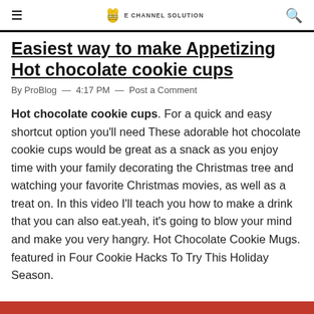E CHANNEL SOLUTION
Easiest way to make Appetizing Hot chocolate cookie cups
By ProBlog — 4:17 PM — Post a Comment
Hot chocolate cookie cups. For a quick and easy shortcut option you'll need These adorable hot chocolate cookie cups would be great as a snack as you enjoy time with your family decorating the Christmas tree and watching your favorite Christmas movies, as well as a treat on. In this video I'll teach you how to make a drink that you can also eat.yeah, it's going to blow your mind and make you very hangry. Hot Chocolate Cookie Mugs. featured in Four Cookie Hacks To Try This Holiday Season.